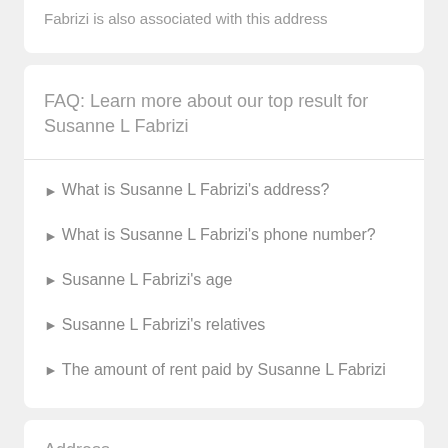Fabrizi is also associated with this address
FAQ: Learn more about our top result for Susanne L Fabrizi
What is Susanne L Fabrizi's address?
What is Susanne L Fabrizi's phone number?
Susanne L Fabrizi's age
Susanne L Fabrizi's relatives
The amount of rent paid by Susanne L Fabrizi
Address